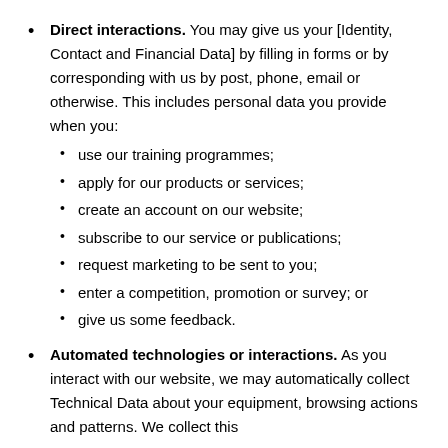Direct interactions. You may give us your [Identity, Contact and Financial Data] by filling in forms or by corresponding with us by post, phone, email or otherwise. This includes personal data you provide when you: use our training programmes; apply for our products or services; create an account on our website; subscribe to our service or publications; request marketing to be sent to you; enter a competition, promotion or survey; or give us some feedback.
Automated technologies or interactions. As you interact with our website, we may automatically collect Technical Data about your equipment, browsing actions and patterns. We collect this